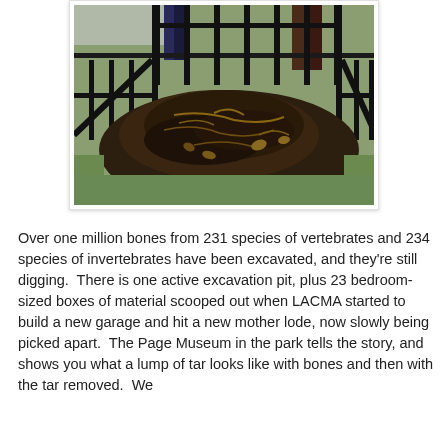[Figure (photo): An outdoor excavation pit enclosed by black metal railings/fence. The pit contains dark, moist soil with roots, twigs, and scattered leaves. Two people are visible standing behind the fence in the background. Green grass is visible outside the fence area.]
Over one million bones from 231 species of vertebrates and 234 species of invertebrates have been excavated, and they're still digging.  There is one active excavation pit, plus 23 bedroom-sized boxes of material scooped out when LACMA started to build a new garage and hit a new mother lode, now slowly being picked apart.  The Page Museum in the park tells the story, and shows you what a lump of tar looks like with bones and then with the tar removed.  We